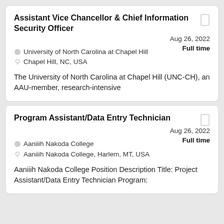Assistant Vice Chancellor & Chief Information Security Officer
Aug 26, 2022
Full time
University of North Carolina at Chapel Hill
Chapel Hill, NC, USA
The University of North Carolina at Chapel Hill (UNC-CH), an AAU-member, research-intensive
Program Assistant/Data Entry Technician
Aug 26, 2022
Full time
Aaniiih Nakoda College
Aaniiih Nakoda College, Harlem, MT, USA
Aaniiih Nakoda College Position Description Title: Project Assistant/Data Entry Technician Program: